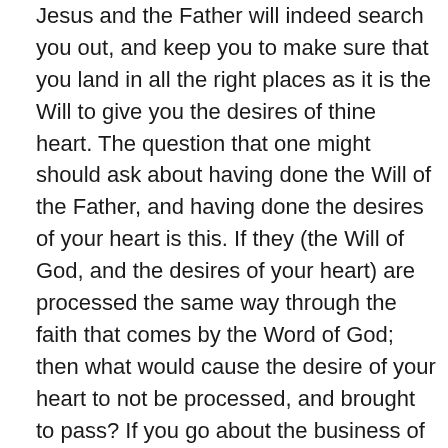Jesus and the Father will indeed search you out, and keep you to make sure that you land in all the right places as it is the Will to give you the desires of thine heart. The question that one might should ask about having done the Will of the Father, and having done the desires of your heart is this. If they (the Will of God, and the desires of your heart) are processed the same way through the faith that comes by the Word of God; then what would cause the desire of your heart to not be processed, and brought to pass? If you go about the business of bringing to pass a desire of your heart, but you fail to have a little talk with Jesus first. You will be attempting to process it without receiving the Will of the Father for it through receiving the Word of God on it first. If you attempt to process the desire of your heart without the word of God, there will not be enough faith on your end to push it through because you will not have received the seed which the faith comes, you will